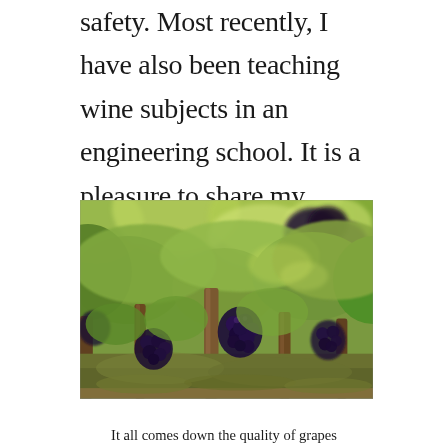safety. Most recently, I have also been teaching wine subjects in an engineering school. It is a pleasure to share my knowledge and passion with people who are eager to learn.
[Figure (photo): A close-up photograph of a vineyard with grapevines bearing clusters of dark purple/blue grapes. The vines have gnarled brown trunks with green leafy canopy. Sunlight filters through the leaves creating a warm, golden ambiance. The ground below shows grass and soil.]
It all comes down the quality of grapes